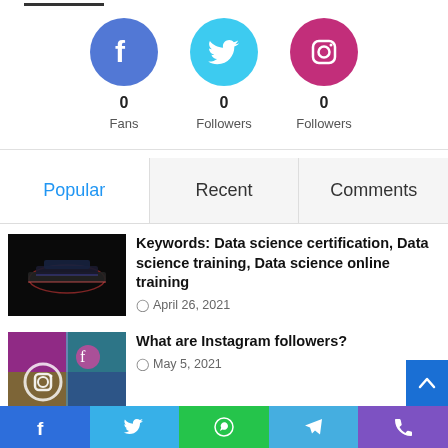[Figure (infographic): Social media stats: Facebook (0 Fans), Twitter (0 Followers), Instagram (0 Followers)]
0 Fans
0 Followers
0 Followers
Popular | Recent | Comments
[Figure (photo): Dark background with glowing layered cards/laptops]
Keywords: Data science certification, Data science training, Data science online training
April 26, 2021
[Figure (photo): Colorful Instagram-themed collage with icons]
What are Instagram followers?
May 5, 2021